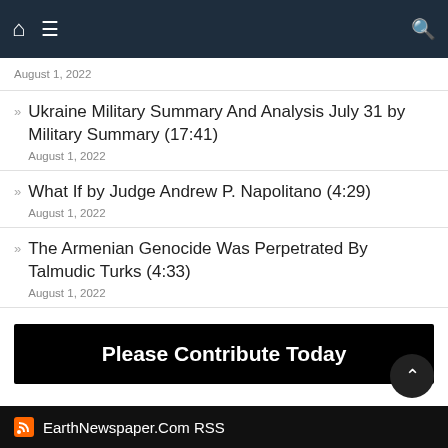Navigation bar with home, menu, and search icons
August 1, 2022
Ukraine Military Summary And Analysis July 31 by Military Summary (17:41)
August 1, 2022
What If by Judge Andrew P. Napolitano (4:29)
August 1, 2022
The Armenian Genocide Was Perpetrated By Talmudic Turks (4:33)
August 1, 2022
[Figure (infographic): Please Contribute Today banner, black background with white bold text]
EarthNewspaper.Com RSS